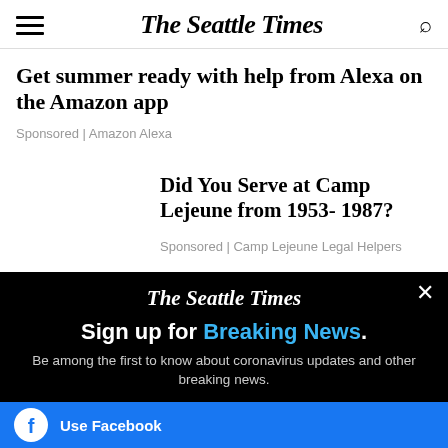The Seattle Times
Get summer ready with help from Alexa on the Amazon app
Sponsored | Amazon Alexa
Did You Serve at Camp Lejeune from 1953- 1987?
Sponsored | Camp Lejeune Legal Helpers
[Figure (screenshot): Modal overlay on black background with The Seattle Times logo, 'Sign up for Breaking News.' headline, subtext 'Be among the first to know about coronavirus updates and other breaking news.', and a Use Facebook button]
Sign up for Breaking News.
Be among the first to know about coronavirus updates and other breaking news.
Use Facebook